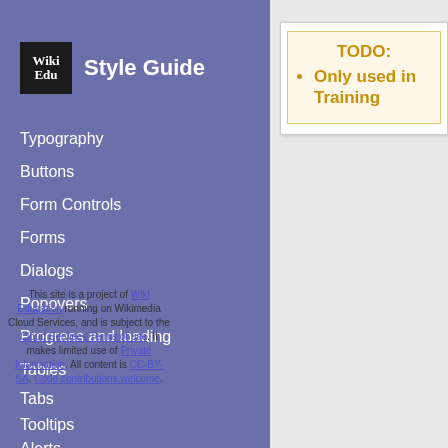Style Guide
Typography
Buttons
Form Controls
Forms
Dialogs
Popovers
Progress and loading
Tables
Tabs
Tooltips
Alerts
TODO:
• Only used in Training
This site is a project of Wiki Education running on Wikimedia Cloud Services, and is subject to the Cloud Services Terms of use. It makes limited use of Private Information. All content is CC-BY-SA. Code contributions welcome.